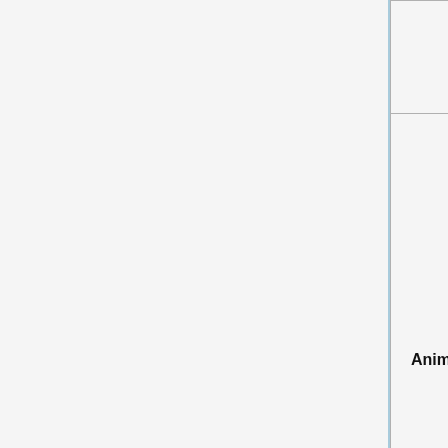| Event Name | Description |
| --- | --- |
|  |  |
| AnimDone | Triggered every time an animation finishes playing a sequence. It can be listened to on the actual addEventListener |
| AnimStateChanged | Triggered every time the animation transitions states in a sequence. It can be listened to on the PC where the actu |